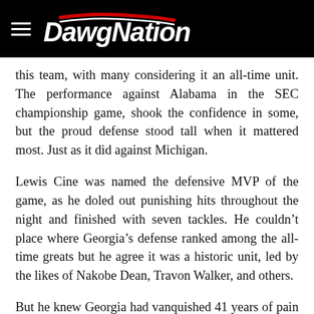DawgNation
this team, with many considering it an all-time unit. The performance against Alabama in the SEC championship game, shook the confidence in some, but the proud defense stood tall when it mattered most. Just as it did against Michigan.
Lewis Cine was named the defensive MVP of the game, as he doled out punishing hits throughout the night and finished with seven tackles. He couldn’t place where Georgia’s defense ranked among the all-time greats but he agree it was a historic unit, led by the likes of Nakobe Dean, Travon Walker, and others.
But he knew Georgia had vanquished 41 years of pain and missteps when the redshift freshman